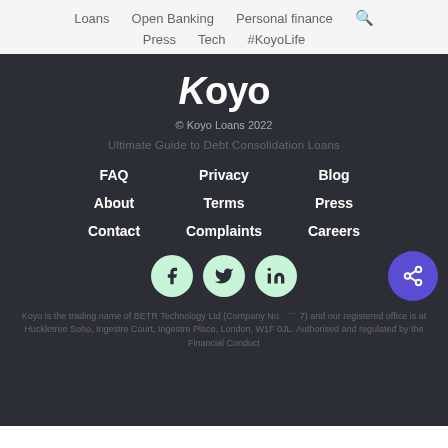Loans  Open Banking  Personal finance  🔍  Press  Tech  #KoyoLife
[Figure (logo): Koyo logo in white text on dark background]
© Koyo Loans 2022
Ultimate Guide to Debt Consolidation Loans
FAQ
Privacy
Blog
About
Terms
Press
Contact
Complaints
Careers
[Figure (illustration): Social media icons: Facebook, Twitter, LinkedIn in green circles; purple share button]
Koyo is the trading name of BETR Technology Ltd (Company No. ...7) and our registered office is at Huckletree Soho, Ingestre Court, Ingestre Place, London, W1F 0JL. Authorised and regulated by the Financial Conduct